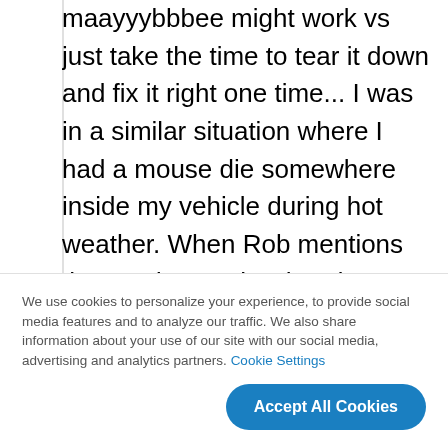maayyybbbee might work vs just take the time to tear it down and fix it right one time... I was in a similar situation where I had a mouse die somewhere inside my vehicle during hot weather. When Rob mentions the word "stench", that doesn't quite fully describe the putrid, vomit-inducing smell that accompanies such a situation. If you need to rely on that vehicle you will try every quick fix to try to just make it go away... I had a bad [continues]
We use cookies to personalize your experience, to provide social media features and to analyze our traffic. We also share information about your use of our site with our social media, advertising and analytics partners. Cookie Settings
Accept All Cookies